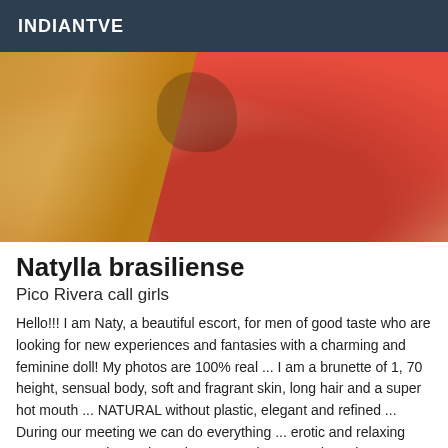INDIANTVE
[Figure (photo): Close-up photo of a person in a red outfit with blonde hair and a tattoo visible on their back/shoulder area]
Natylla brasiliense
Pico Rivera call girls
Hello!!! I am Naty, a beautiful escort, for men of good taste who are looking for new experiences and fantasies with a charming and feminine doll! My photos are 100% real ... I am a brunette of 1, 70 height, sensual body, soft and fragrant skin, long hair and a super hot mouth ... NATURAL without plastic, elegant and refined ... During our meeting we can do everything ... erotic and relaxing massages, active and passive sex, oral sex, 69, deep throat, kisses and caresses ... I am very passive for